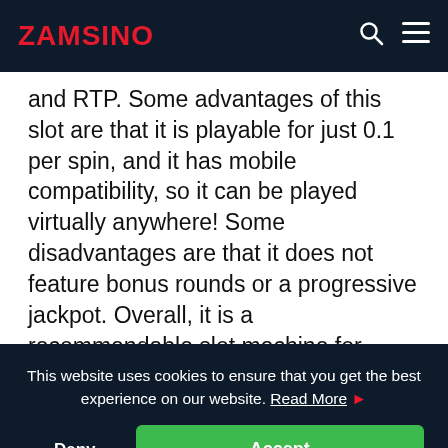ZAMSINO
and RTP. Some advantages of this slot are that it is playable for just 0.1 per spin, and it has mobile compatibility, so it can be played virtually anywhere! Some disadvantages are that it does not feature bonus rounds or a progressive jackpot. Overall, it is a recommendable slot machine for novice and seasoned players alike. Do not miss your
This website uses cookies to ensure that you get the best experience on our website. Read More
Deny
Accept
Try these free casino games instead of